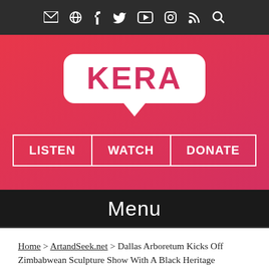KERA social media icons bar
[Figure (logo): KERA logo in white speech bubble on red gradient background with LISTEN, WATCH, DONATE navigation buttons]
Menu
Home > ArtandSeek.net > Dallas Arboretum Kicks Off Zimbabwean Sculpture Show With A Black Heritage Celebration
Dallas Arboretum Kicks Off Zimbabwean